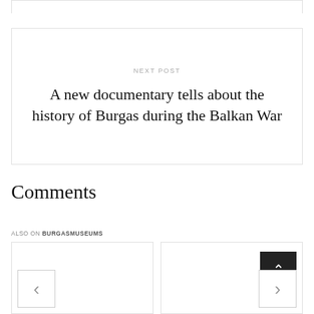NEXT POST
A new documentary tells about the history of Burgas during the Balkan War
Comments
ALSO ON BURGASMUSEUMS